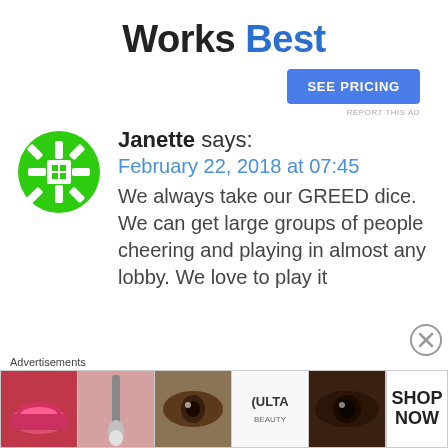Works Best
[Figure (other): SEE PRICING button (blue rectangle)]
REPORT THIS AD
[Figure (logo): Green snowflake/geometric avatar icon for user Janette]
Janette says:
February 22, 2018 at 07:45
We always take our GREED dice. We can get large groups of people cheering and playing in almost any lobby. We love to play it
[Figure (other): Close/dismiss button (X in circle)]
Advertisements
[Figure (other): Ulta beauty advertisement banner with makeup images and SHOP NOW text]